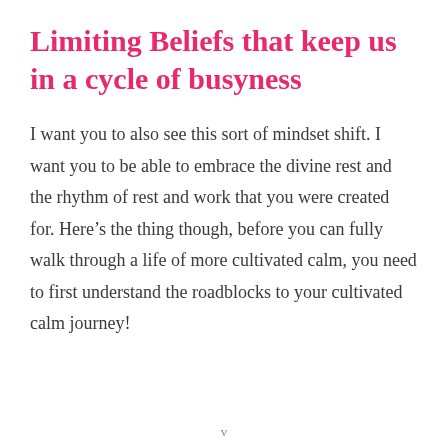Limiting Beliefs that keep us in a cycle of busyness
I want you to also see this sort of mindset shift. I want you to be able to embrace the divine rest and the rhythm of rest and work that you were created for. Here’s the thing though, before you can fully walk through a life of more cultivated calm, you need to first understand the roadblocks to your cultivated calm journey!
v